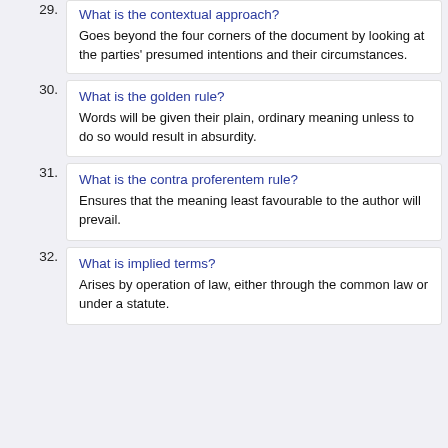29. What is the contextual approach?
Goes beyond the four corners of the document by looking at the parties' presumed intentions and their circumstances.
30. What is the golden rule?
Words will be given their plain, ordinary meaning unless to do so would result in absurdity.
31. What is the contra proferentem rule?
Ensures that the meaning least favourable to the author will prevail.
32. What is implied terms?
Arises by operation of law, either through the common law or under a statute.